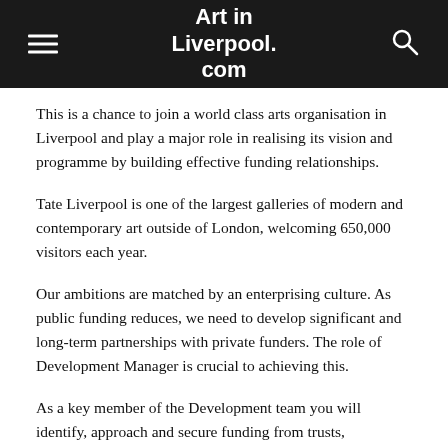Art in Liverpool.com
This is a chance to join a world class arts organisation in Liverpool and play a major role in realising its vision and programme by building effective funding relationships.
Tate Liverpool is one of the largest galleries of modern and contemporary art outside of London, welcoming 650,000 visitors each year.
Our ambitions are matched by an enterprising culture. As public funding reduces, we need to develop significant and long-term partnerships with private funders. The role of Development Manager is crucial to achieving this.
As a key member of the Development team you will identify, approach and secure funding from trusts, institutions and individuals in support of Tate Liverpool's cultural programme will